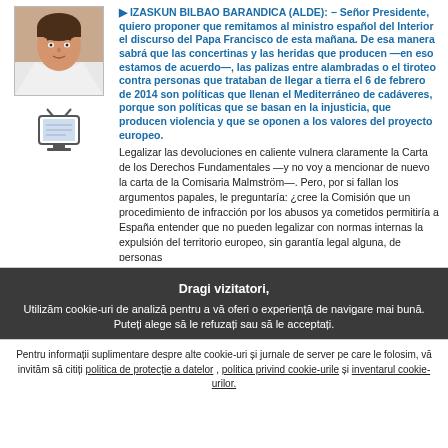▶ IZASKUN BILBAO BARANDICA (ALDE): − Señor Presidente, quiero proponer que remitamos al ministro español del Interior el discurso del Papa Francisco de esta mañana. De esa manera sabrá que las concertinas y las heridas que producen —en eso estamos de acuerdo—, las palizas entre alambradas o el tiroteo contra personas que trataban de llegar a tierra el 6 de febrero de 2014 son políticas que llenan el Mediterráneo de cadáveres, porque son políticas que se basan en la injusticia, que producen violencia y que se oponen a los valores del proyecto europeo.

Legalizar las devoluciones en caliente vulnera claramente la Carta de los Derechos Fundamentales —y no voy a mencionar de nuevo la carta de la Comisaria Malmström—. Pero, por si fallan los argumentos papales, le preguntaría: ¿cree la Comisión que un procedimiento de infracción por los abusos ya cometidos permitiría a España entender que no pueden legalizar con normas internas la expulsión del territorio europeo, sin garantía legal alguna, de personas
Dragi vizitatori,
Utilizăm cookie-uri de analiză pentru a vă oferi o experiență de navigare mai bună. Puteți alege să le refuzați sau să le acceptați.
Refuz cookie-urile de analiză
Accept cookie-urile de analiză
Pentru informații suplimentare despre alte cookie-uri și jurnale de server pe care le folosim, vă invităm să citiți politica de protecție a datelor , politica privind cookie-urile și inventarul cookie-urilor.